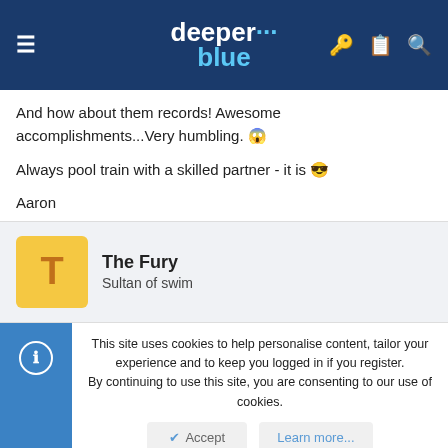deeper blue
And how about them records! Awesome accomplishments...Very humbling. 😱
Always pool train with a skilled partner - it is 😎
Aaron
The Fury
Sultan of swim
This site uses cookies to help personalise content, tailor your experience and to keep you logged in if you register.
By continuing to use this site, you are consenting to our use of cookies.